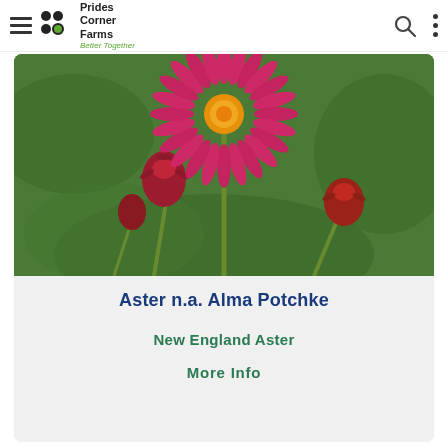Prides Corner Farms – Better Together
[Figure (photo): Close-up photo of a bright pink Aster flower with orange-yellow center, with red buds and green foliage in the background.]
Aster n.a. Alma Potchke
New England Aster
More Info